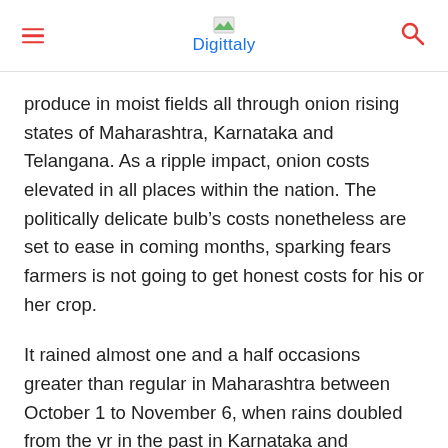Digittaly
produce in moist fields all through onion rising states of Maharashtra, Karnataka and Telangana. As a ripple impact, onion costs elevated in all places within the nation. The politically delicate bulb’s costs nonetheless are set to ease in coming months, sparking fears farmers is not going to get honest costs for his or her crop.
It rained almost one and a half occasions greater than regular in Maharashtra between October 1 to November 6, when rains doubled from the yr in the past in Karnataka and Telangana acquired 65% greater than ordinary. This unseasonal deluge broken crops on one third of Maharashtra’s cultivated space.